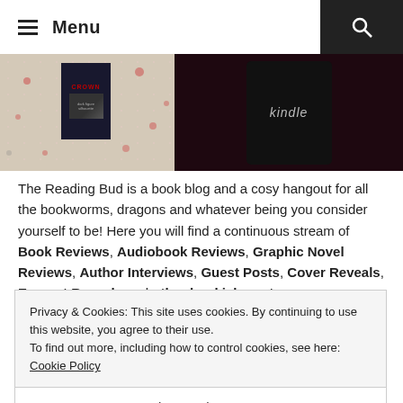≡ Menu
[Figure (photo): Two photos side by side: left shows a book with red crown design on cover lying on a knitted surface with small heart-shaped decorations; right shows a black Kindle e-reader on a dark surface with the word 'kindle' visible.]
The Reading Bud is a book blog and a cosy hangout for all the bookworms, dragons and whatever being you consider yourself to be! Here you will find a continuous stream of Book Reviews, Audiobook Reviews, Graphic Novel Reviews, Author Interviews, Guest Posts, Cover Reveals, Excerpt Reveals and other bookish posts
Privacy & Cookies: This site uses cookies. By continuing to use this website, you agree to their use.
To find out more, including how to control cookies, see here: Cookie Policy
Close and accept